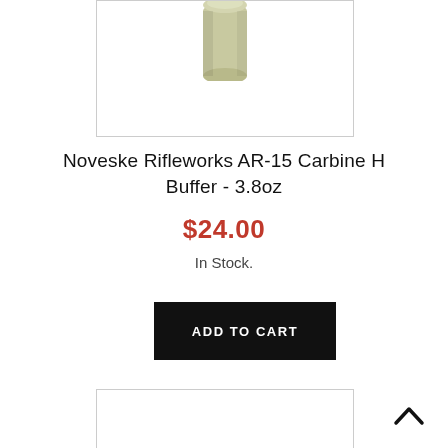[Figure (photo): Top portion of a Noveske Rifleworks AR-15 Carbine H Buffer product image, showing the buffer with olive/tan coloring against a white background.]
Noveske Rifleworks AR-15 Carbine H Buffer - 3.8oz
$24.00
In Stock.
ADD TO CART
[Figure (photo): Bottom portion of a product image, partially visible.]